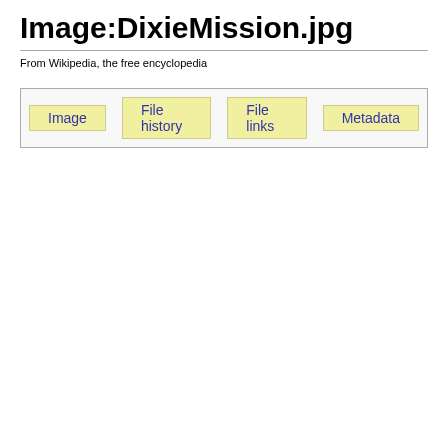Image:DixieMission.jpg
From Wikipedia, the free encyclopedia
| Image | File history | File links | Metadata |
| --- | --- | --- | --- |